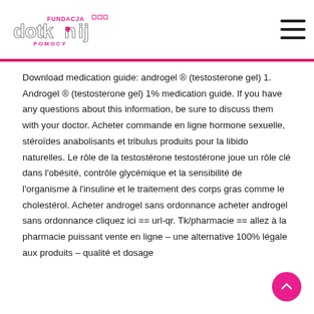[Figure (logo): Fundacja Dotknij Pomocy logo with stylized text and heart icon]
Download medication guide: androgel ® (testosterone gel) 1. Androgel ® (testosterone gel) 1% medication guide. If you have any questions about this information, be sure to discuss them with your doctor. Acheter commande en ligne hormone sexuelle, stéroïdes anabolisants et tribulus produits pour la libido naturelles. Le rôle de la testostérone testostérone joue un rôle clé dans l'obésité, contrôle glycémique et la sensibilité de l'organisme à l'insuline et le traitement des corps gras comme le cholestérol. Acheter androgel sans ordonnance acheter androgel sans ordonnance cliquez ici == url-qr. Tk/pharmacie == allez à la pharmacie puissant vente en ligne – une alternative 100% légale aux produits – qualité et dosage